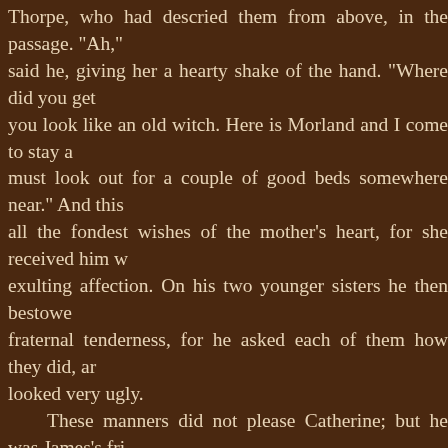Thorpe, who had descried them from above, in the passage. "Ah," said he, giving her a hearty shake of the hand. "Where did you get you look like an old witch. Here is Morland and I come to stay a must look out for a couple of good beds somewhere near." And this all the fondest wishes of the mother's heart, for she received him w exulting affection. On his two younger sisters he then bestowe fraternal tenderness, for he asked each of them how they did, ar looked very ugly. These manners did not please Catherine; but he was James's fri and her judgment was further bought off by Isabella's assuring her, the new hat, that John thought her the most charming girl in the wor her before they parted to dance with him that evening. Had she b attacks might have done little; but, where youth and diffidenc uncommon steadiness of reason to resist the attraction of being ca in the world, and of being so very early engaged as a partner; and when the two Morlands, after sitting an hour with the Thorpes, set Allen's, and James, as the door was closed on them, said, "Well, C my friend Thorpe?" instead of answering, as she probably would h no friendship and no flattery in the case, "I do not like him at all," she very much; he seems very agreeable." "He is as good-natured a fellow as ever lived; a little of a rattle; bu to your sex, I believe: and how do you like the rest of the family?"